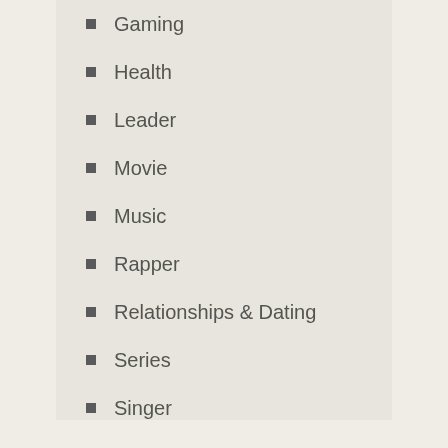Gaming
Health
Leader
Movie
Music
Rapper
Relationships & Dating
Series
Singer
TV Show
Uncategorized